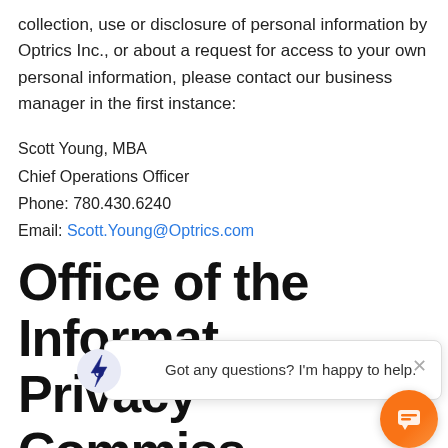collection, use or disclosure of personal information by Optrics Inc., or about a request for access to your own personal information, please contact our business manager in the first instance:
Scott Young, MBA
Chief Operations Officer
Phone: 780.430.6240
Email: Scott.Young@Optrics.com
Office of the Information and Privacy Commissioner of Alberta
If you are not satisfied with the response you receive, you should contact the Information and Privacy Commissioner of Alberta: